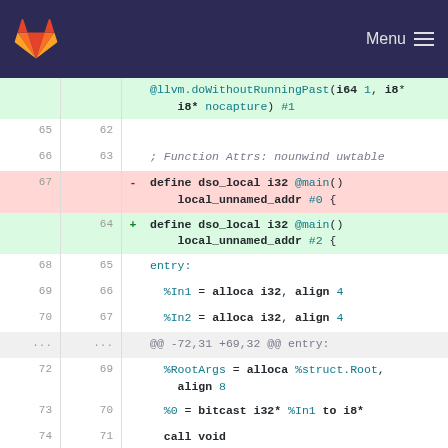GitLab navigation bar with logo and Menu
[Figure (screenshot): Code diff view showing LLVM IR changes between two versions. Lines 65-75+ shown with line numbers, removed lines highlighted in red, added lines in green.]